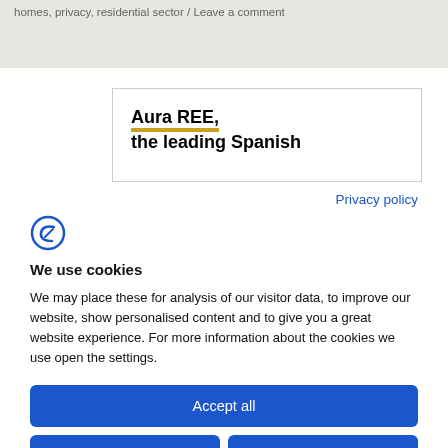homes, privacy, residential sector / Leave a comment
Aura REE, the leading Spanish
Privacy policy
[Figure (logo): Cookiebot logo - stylized letter C with F inside, blue outline]
We use cookies
We may place these for analysis of our visitor data, to improve our website, show personalised content and to give you a great website experience. For more information about the cookies we use open the settings.
Accept all
Deny
No, adjust